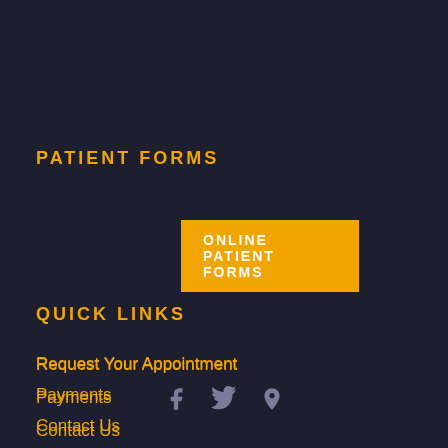PATIENT FORMS
ONLINE PATIENT FORMS
QUICK LINKS
Request Your Appointment
Payments
Contact Us
Specials
Services
FAQs
[Figure (other): Social media icons: Facebook, Twitter, Location pin]